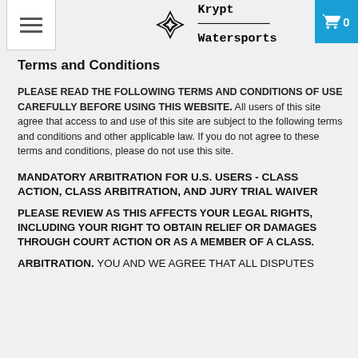Krypt Watersports — navigation header with hamburger menu and cart icon showing 0
Terms and Conditions
PLEASE READ THE FOLLOWING TERMS AND CONDITIONS OF USE CAREFULLY BEFORE USING THIS WEBSITE. All users of this site agree that access to and use of this site are subject to the following terms and conditions and other applicable law. If you do not agree to these terms and conditions, please do not use this site.
MANDATORY ARBITRATION FOR U.S. USERS - CLASS ACTION, CLASS ARBITRATION, AND JURY TRIAL WAIVER
PLEASE REVIEW AS THIS AFFECTS YOUR LEGAL RIGHTS, INCLUDING YOUR RIGHT TO OBTAIN RELIEF OR DAMAGES THROUGH COURT ACTION OR AS A MEMBER OF A CLASS.
ARBITRATION. YOU AND WE AGREE THAT ALL DISPUTES